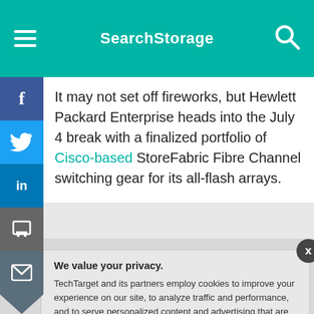SearchStorage
It may not set off fireworks, but Hewlett Packard Enterprise heads into the July 4 break with a finalized portfolio of Cisco-based StoreFabric Fibre Channel switching gear for its all-flash arrays.
We value your privacy. TechTarget and its partners employ cookies to improve your experience on our site, to analyze traffic and performance, and to serve personalized content and advertising that are relevant to your professional interests. You can manage your settings at any time. Please view our Privacy Policy for more information